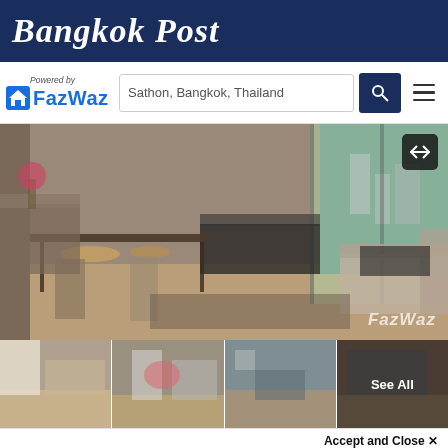Bangkok Post
[Figure (logo): FazWaz logo with house icon and 'Powered by' text above, next to a search bar with text 'Sathon, Bangkok, Thailand', a dark blue search button with magnifier icon, and hamburger menu icon]
[Figure (photo): Interior photo of a furnished apartment/condo room with dining table set, sofa, and large windows showing city view. FazWaz watermark in bottom right. Navigation arrow button in top right.]
[Figure (photo): Row of four thumbnail images of the same apartment interior. The last thumbnail has a 'See All' overlay.]
Accept and Close ×
Your browser settings do not allow cross-site tracking for advertising. Click on this page to allow AdRoll to use cross-site tracking to tailor ads to you. Learn more or opt out of this AdRoll tracking by clicking here. This message only appears once.